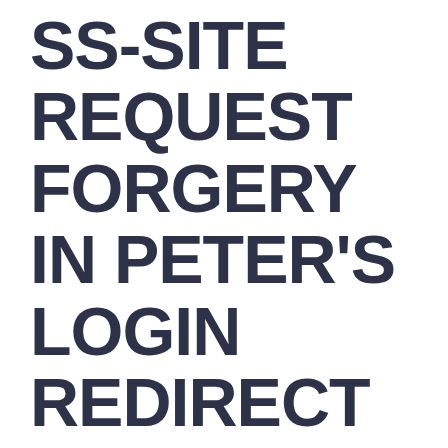SS-SITE REQUEST FORGERY IN PETER'S LOGIN REDIRECT WORDPRESS PLUGIN